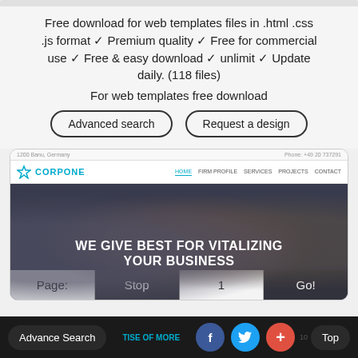Free download for web templates files in .html .css .js format ✓ Premium quality ✓ Free for commercial use ✓ Free & easy download ✓ unlimit ✓ Update daily. (118 files)
For web templates free download
Advanced search | Request a design
[Figure (screenshot): Screenshot of CORPONE website template showing navigation bar with HOME, FIRM PROFILE, SERVICES, PROJECTS, CONTACT links and a hero image with text WE GIVE BEST FOR VITALIZING YOUR BUSINESS, and a pagination bar with Page: Stop 1 Go!]
Advance Search | TISE OF MORE | 10 | Top